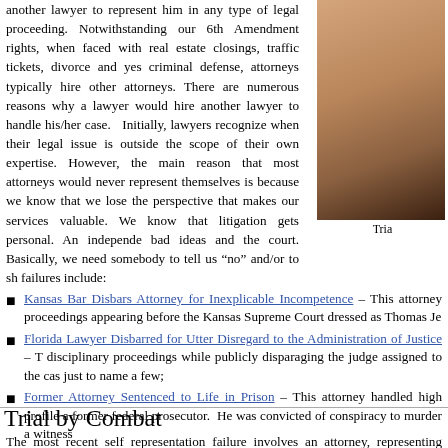another lawyer to represent him in any type of legal proceeding. Notwithstanding our 6th Amendment rights, when faced with real estate closings, traffic tickets, divorce and yes criminal defense, attorneys typically hire other attorneys. There are numerous reasons why a lawyer would hire another lawyer to handle his/her case. Initially, lawyers recognize when their legal issue is outside the scope of their own expertise. However, the main reason that most attorneys would never represent themselves is because we know that we lose the perspective that makes our services valuable. We know that litigation gets personal. An independent bad ideas and the court. Basically, we need somebody to tell us “no” and/or to sh failures include:
[Figure (photo): Photo of a person, partially visible, with caption 'Tria']
Kansas Bar Disbars Attorney for Inexplicable Incompetence – This attorney proceedings appearing before the Kansas Supreme Court dressed as Thomas Je
Florida Lawyer Disbarred for Utter Disregard to the Administration of Justice – T disciplinary proceedings while publicly disparaging the judge assigned to the cas just to name a few;
Former Attorney Sentenced to Life in Prison – This attorney handled high profile a former federal prosecutor. He was convicted of conspiracy to murder a witness
Trial by Combat
The most recent self representation failure involves an attorney, representing himsel motion is relatively well written. The argument is based on common law. For simplic